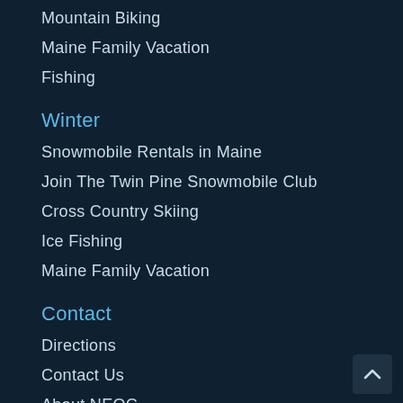Mountain Biking
Maine Family Vacation
Fishing
Winter
Snowmobile Rentals in Maine
Join The Twin Pine Snowmobile Club
Cross Country Skiing
Ice Fishing
Maine Family Vacation
Contact
Directions
Contact Us
About NEOC